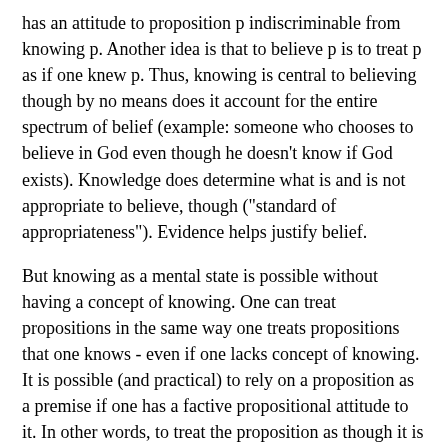has an attitude to proposition p indiscriminable from knowing p. Another idea is that to believe p is to treat p as if one knew p. Thus, knowing is central to believing though by no means does it account for the entire spectrum of belief (example: someone who chooses to believe in God even though he doesn't know if God exists). Knowledge does determine what is and is not appropriate to believe, though ("standard of appropriateness"). Evidence helps justify belief.
But knowing as a mental state is possible without having a concept of knowing. One can treat propositions in the same way one treats propositions that one knows - even if one lacks concept of knowing. It is possible (and practical) to rely on a proposition as a premise if one has a factive propositional attitude to it. In other words, to treat the proposition as though it is known and then to believe in it.
As Williamson says, "believing is a kind of a botched knowing". Knowledge is the aim of belief, its goal.
Morality: Desire and Reason